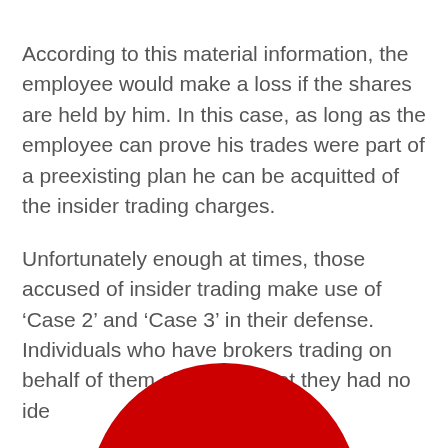According to this material information, the employee would make a loss if the shares are held by him. In this case, as long as the employee can prove his trades were part of a preexisting plan he can be acquitted of the insider trading charges.
Unfortunately enough at times, those accused of insider trading make use of ‘Case 2’ and ‘Case 3’ in their defense. Individuals who have brokers trading on behalf of them also claim that they had no idea [trading] taking place as th[e trades were made by the broke]r.
[Figure (other): Red circular button/banner with white text reading 'Open Instant Demat A/c', overlaid at the bottom center of the page as a call-to-action element.]